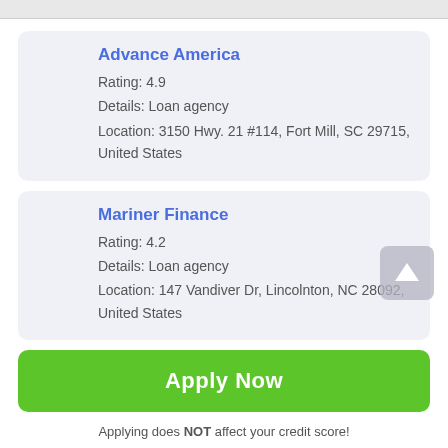Advance America
Rating: 4.9
Details: Loan agency
Location: 3150 Hwy. 21 #114, Fort Mill, SC 29715, United States
Mariner Finance
Rating: 4.2
Details: Loan agency
Location: 147 Vandiver Dr, Lincolnton, NC 28092, United States
Apply Now
Applying does NOT affect your credit score! No credit check to apply.